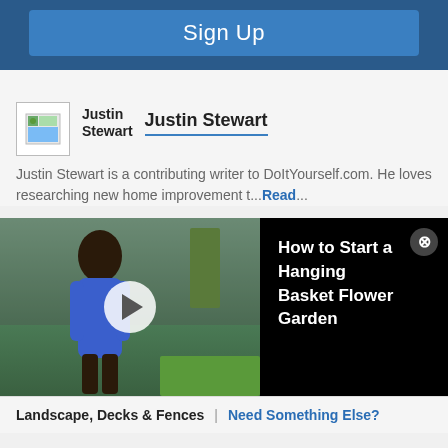[Figure (screenshot): Sign Up button on a blue bar background]
Justin Stewart
Justin Stewart
Justin Stewart is a contributing writer to DoItYourself.com. He loves researching new home improvement t... Read...
[Figure (screenshot): Video thumbnail showing a woman in a blue dress in a garden setting with a play button overlay, next to a black panel with video title 'How to Start a Hanging Basket Flower Garden' and a close button]
Landscape, Decks & Fences | Need Something Else?